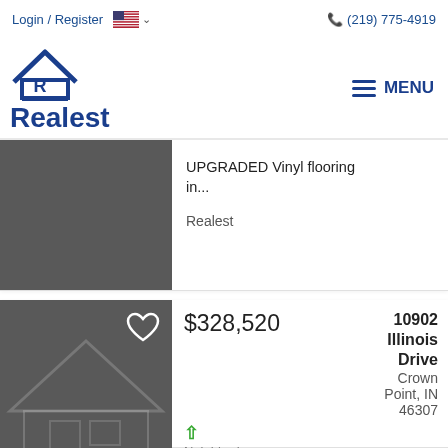Login / Register  (219) 775-4919
[Figure (logo): Realest real estate website logo with house icon and 'Realest' text, plus MENU hamburger button]
UPGRADED Vinyl flooring in...
Realest
$328,520
10902 Illinois Drive Crown Point, IN 46307
↑ Neighborho...
2 Beds  2F 11/2 Baths  1,704 Sq.Ft.